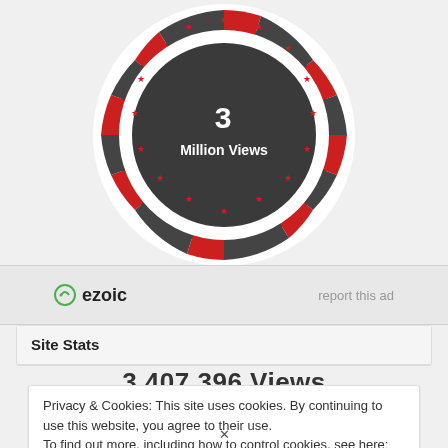[Figure (illustration): Circular badge/emblem with red and dark grey segments around the border and stars, with text '3 Million Views' in white on a dark background in the center.]
ezoic   report this ad
Site Stats
3,407,396 Views
Privacy & Cookies: This site uses cookies. By continuing to use this website, you agree to their use.
To find out more, including how to control cookies, see here: Cookie Policy